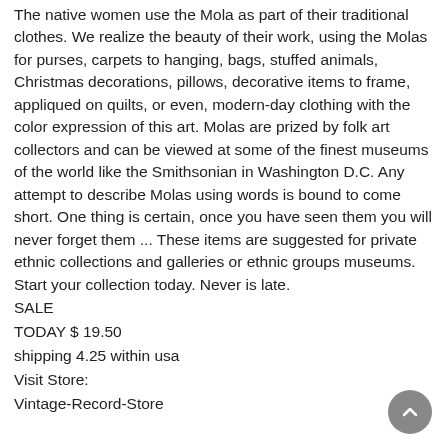The native women use the Mola as part of their traditional clothes. We realize the beauty of their work, using the Molas for purses, carpets to hanging, bags, stuffed animals, Christmas decorations, pillows, decorative items to frame, appliqued on quilts, or even, modern-day clothing with the color expression of this art. Molas are prized by folk art collectors and can be viewed at some of the finest museums of the world like the Smithsonian in Washington D.C. Any attempt to describe Molas using words is bound to come short. One thing is certain, once you have seen them you will never forget them ... These items are suggested for private ethnic collections and galleries or ethnic groups museums.
Start your collection today. Never is late.
SALE
TODAY $ 19.50
shipping 4.25 within usa
Visit Store:
Vintage-Record-Store